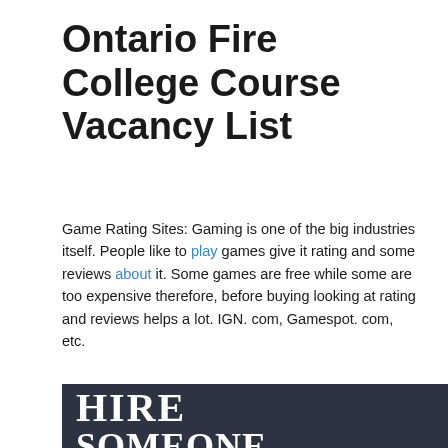Ontario Fire College Course Vacancy List
Game Rating Sites: Gaming is one of the big industries itself. People like to play games give it rating and some reviews about it. Some games are free while some are too expensive therefore, before buying looking at rating and reviews helps a lot. IGN. com, Gamespot. com, etc.
[Figure (photo): Dark background banner image with large bold white serif text reading 'HIRE SOMEONE TO TAKE' on multiple lines]